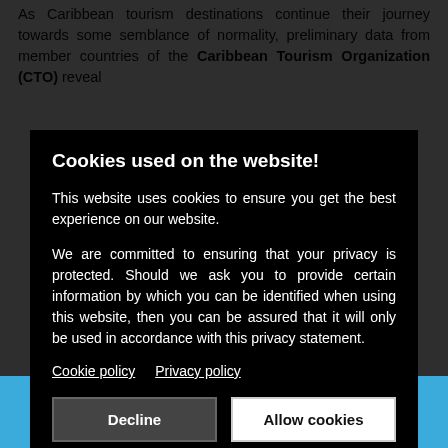As Caribbean tourism destinations continue their journey towards some semblance of normality, preliminary data from member countries of the Caribbean Tourism Organization (CTO) reveal
Cookies used on the website!
This website uses cookies to ensure you get the best experience on our website.
We are committed to ensuring that your privacy is protected. Should we ask you to provide certain information by which you can be identified when using this website, then you can be assured that it will only be used in accordance with this privacy statement.
Cookie policy   Privacy policy
Decline   Allow cookies
Social media footer bar with Facebook and Twitter icons